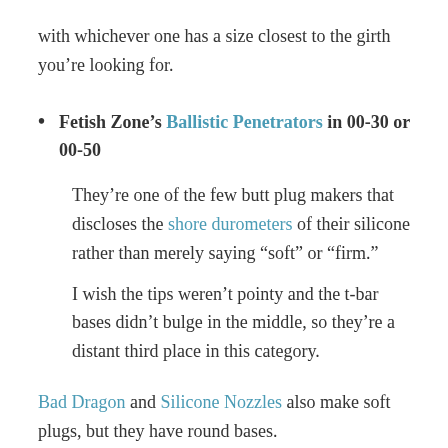with whichever one has a size closest to the girth you’re looking for.
Fetish Zone’s Ballistic Penetrators in 00-30 or 00-50
They’re one of the few butt plug makers that discloses the shore durometers of their silicone rather than merely saying “soft” or “firm.”
I wish the tips weren’t pointy and the t-bar bases didn’t bulge in the middle, so they’re a distant third place in this category.
Bad Dragon and Silicone Nozzles also make soft plugs, but they have round bases.